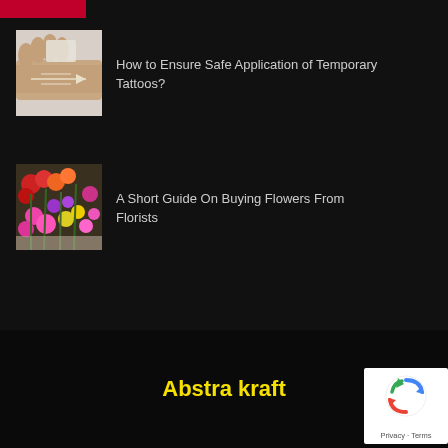[Figure (photo): Partial red/crimson image at the very top left corner, cropped]
[Figure (photo): Photo of a hand applying a temporary tattoo (arrow-pattern) on a wrist]
How to Ensure Safe Application of Temporary Tattoos?
[Figure (photo): Photo of colorful flower bouquets at a florist shop]
A Short Guide On Buying Flowers From Florists
Abstra kraft
[Figure (logo): Google reCAPTCHA badge with recaptcha icon and Privacy · Terms text]